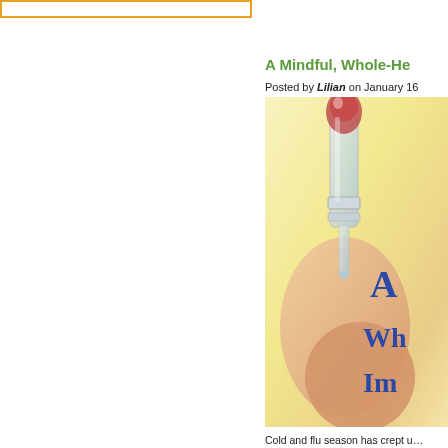[Figure (other): Orange-bordered rectangular box at top left of page, used as a search or navigation bar placeholder]
A Mindful, Whole-He…
Posted by Lilian on January 16…
[Figure (photo): A hand holding a glass water dropper or pipette against a soft yellow background. Blue text overlay reads 'A Wh… Im…' (partial text visible)]
Cold and flu season has crept u…